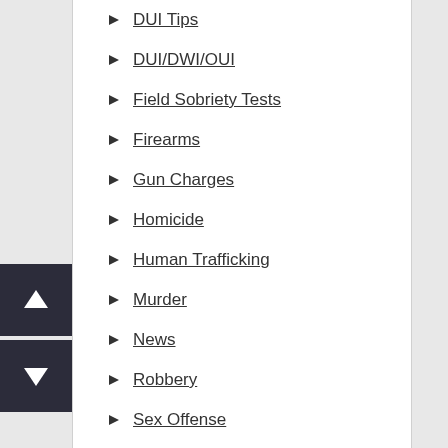DUI Tips
DUI/DWI/OUI
Field Sobriety Tests
Firearms
Gun Charges
Homicide
Human Trafficking
Murder
News
Robbery
Sex Offense
Traffic
Uncategorized